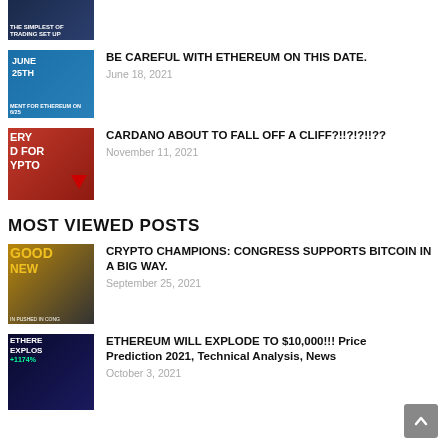[Figure (photo): Partial thumbnail of a trading setup video at top of page]
[Figure (photo): Thumbnail for 'Be Careful With Ethereum On This Date' showing June 25th graphic]
BE CAREFUL WITH ETHEREUM ON THIS DATE.
June 18, 2021
[Figure (photo): Thumbnail for Cardano article showing 'EVERY D FOR CRYPTO' with red down arrow]
CARDANO ABOUT TO FALL OFF A CLIFF?!!?!?!!??
November 11, 2021
MOST VIEWED POSTS
[Figure (photo): Thumbnail showing GOOD NEWS with Bitcoin and Congress building, 'IN PUSHED IN CONG']
CRYPTO CHAMPIONS: CONGRESS SUPPORTS BITCOIN IN A BIG WAY.
September 25, 2021
[Figure (photo): Thumbnail showing ETHEREUM EXPLOSION +1174% with rocket]
ETHEREUM WILL EXPLODE TO $10,000!!! Price Prediction 2021, Technical Analysis, News
October 3, 2021